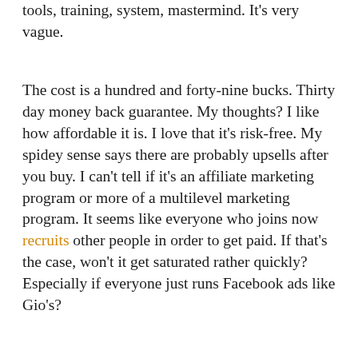tools, training, system, mastermind. It's very vague.
The cost is a hundred and forty-nine bucks. Thirty day money back guarantee. My thoughts? I like how affordable it is. I love that it's risk-free. My spidey sense says there are probably upsells after you buy. I can't tell if it's an affiliate marketing program or more of a multilevel marketing program. It seems like everyone who joins now recruits other people in order to get paid. If that's the case, won't it get saturated rather quickly? Especially if everyone just runs Facebook ads like Gio's?